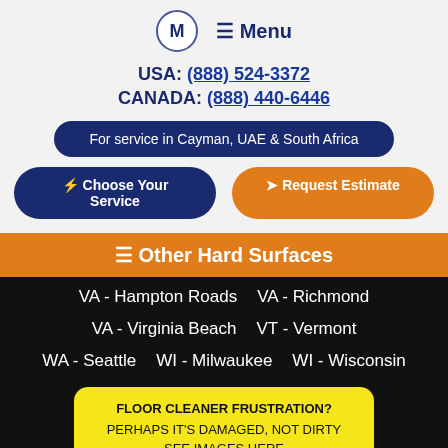M  ≡ Menu
USA: (888) 524-3372
CANADA: (888) 440-6446
For service in Cayman, UAE & South Africa
⚡ Choose Your Service
➤ Request Estimate
≡ Other Hard Surfaces
VA - Hampton Roads
VA - Richmond
VA - Virginia Beach
VT - Vermont
WA - Seattle
WI - Milwaukee
WI - Wisconsin
FLOOR CLEANER FRUSTRATION?
PERHAPS IT'S DAMAGED, NOT DIRTY
SEE IMAGES HERE